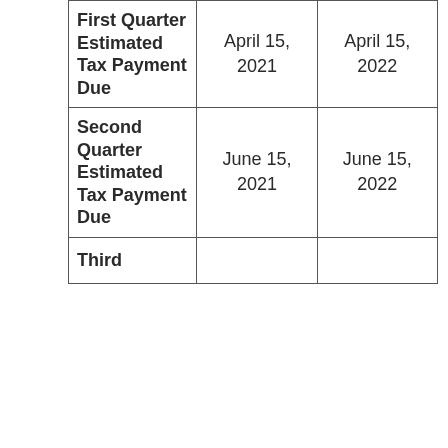|  | 2021 | 2022 |
| --- | --- | --- |
| First Quarter Estimated Tax Payment Due | April 15, 2021 | April 15, 2022 |
| Second Quarter Estimated Tax Payment Due | June 15, 2021 | June 15, 2022 |
| Third |  |  |